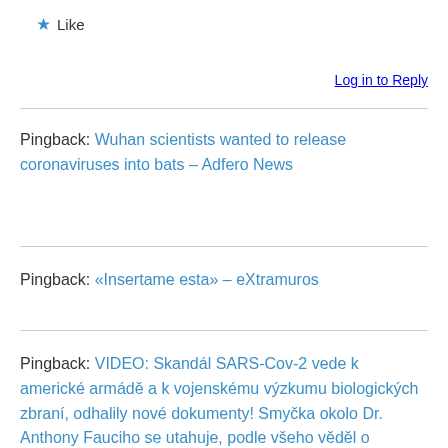★ Like
Log in to Reply
Pingback: Wuhan scientists wanted to release coronaviruses into bats – Adfero News
Pingback: «Insertame esta» – eXtramuros
Pingback: VIDEO: Skandál SARS-Cov-2 vede k americké armádě a k vojenskému výzkumu biologických zbraní, odhalily nové dokumenty! Smyčka okolo Dr. Anthony Fauciho se utahuje, podle všeho věděl o vojenském